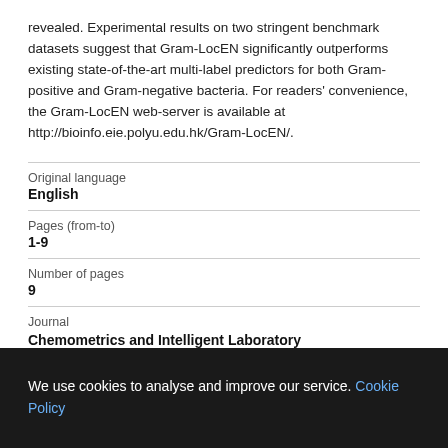revealed. Experimental results on two stringent benchmark datasets suggest that Gram-LocEN significantly outperforms existing state-of-the-art multi-label predictors for both Gram-positive and Gram-negative bacteria. For readers' convenience, the Gram-LocEN web-server is available at http://bioinfo.eie.polyu.edu.hk/Gram-LocEN/.
| Original language |  |
| English |  |
| Pages (from-to) |  |
| 1-9 |  |
| Number of pages |  |
| 9 |  |
| Journal |  |
| Chemometrics and Intelligent Laboratory... |  |
We use cookies to analyse and improve our service. Cookie Policy